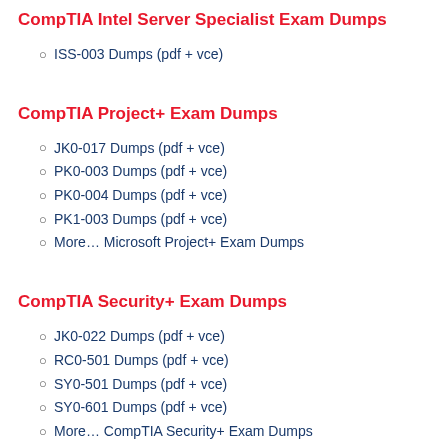CompTIA Intel Server Specialist Exam Dumps
ISS-003 Dumps (pdf + vce)
CompTIA Project+ Exam Dumps
JK0-017 Dumps (pdf + vce)
PK0-003 Dumps (pdf + vce)
PK0-004 Dumps (pdf + vce)
PK1-003 Dumps (pdf + vce)
More… Microsoft Project+ Exam Dumps
CompTIA Security+ Exam Dumps
JK0-022 Dumps (pdf + vce)
RC0-501 Dumps (pdf + vce)
SY0-501 Dumps (pdf + vce)
SY0-601 Dumps (pdf + vce)
More… CompTIA Security+ Exam Dumps